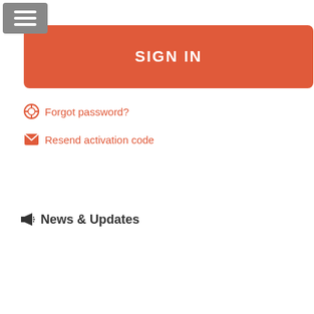[Figure (screenshot): Hamburger menu button icon (three white horizontal lines on grey background)]
SIGN IN
Forgot password?
Resend activation code
News & Updates